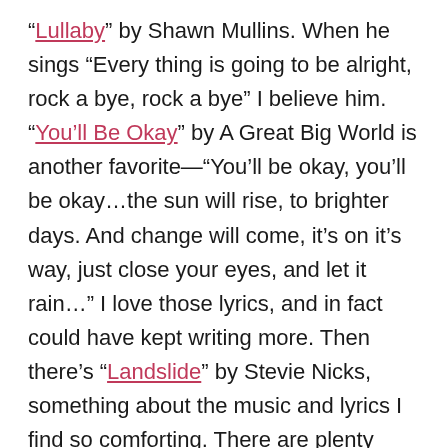“Lullaby” by Shawn Mullins. When he sings “Every thing is going to be alright, rock a bye, rock a bye” I believe him. “You’ll Be Okay” by A Great Big World is another favorite—“You’ll be okay, you’ll be okay…the sun will rise, to brighter days. And change will come, it’s on it’s way, just close your eyes, and let it rain…” I love those lyrics, and in fact could have kept writing more. Then there’s “Landslide” by Stevie Nicks, something about the music and lyrics I find so comforting. There are plenty more, of course, those just happen to be at the top of my list.
And then, I have movies and music documentaries on my DVR. My three favorites—